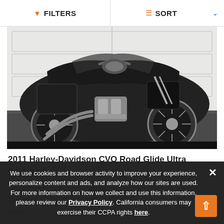FILTERS   SORT
[Figure (photo): Harley-Davidson CVO Road Glide Ultra motorcycle, mostly black, parked in front of a white garage door. Side view showing chrome engine, spoke wheels, and touring accessories.]
2011 Harley-Davidson CVO Road Glide Ultra
$18,750
|  |  |
| --- | --- |
| Color | Gray |
| Engine | 2 |
| Miles | 36,000 |
We use cookies and browser activity to improve your experience, personalize content and ads, and analyze how our sites are used. For more information on how we collect and use this information, please review our Privacy Policy. California consumers may exercise their CCPA rights here.